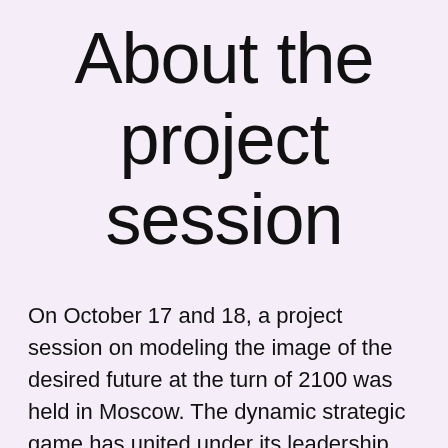About the project session
On October 17 and 18, a project session on modeling the image of the desired future at the turn of 2100 was held in Moscow. The dynamic strategic game has united under its leadership both Russian and foreign youth in order to draw up a "map of the desired future."